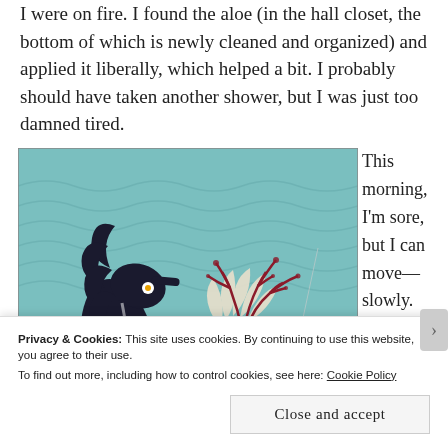I were on fire. I found the aloe (in the hall closet, the bottom of which is newly cleaned and organized) and applied it liberally, which helped a bit. I probably should have taken another shower, but I was just too damned tired.
[Figure (illustration): Decorative illustration showing a mermaid-like figure with white and red coral hair, lying near a dark sea horse against a teal/turquoise background with wave patterns.]
This morning, I'm sore, but I can move—slowly.
Privacy & Cookies: This site uses cookies. By continuing to use this website, you agree to their use.
To find out more, including how to control cookies, see here: Cookie Policy